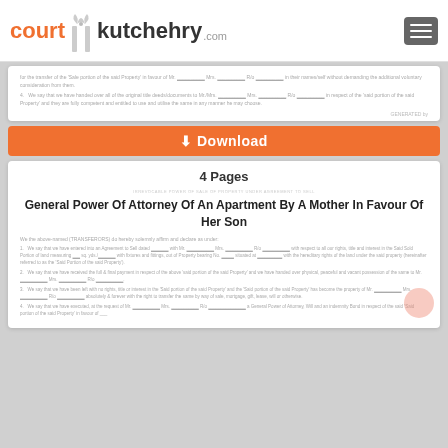court kutchehry .com
for the transfer of the 'sale portion of the said Property' in favour of Mr. ___ Mrs. ___ R/o ___ in their names/self without demanding the additional voluntary consideration from them.
4. We say that we have handed over all of the original title deeds/documents to Mr./Mrs. ___ Mrs. ___ R/o ___ in respect of the 'said portion of the said Property' and they are fully competent and entitled to use and utilise the same in any manner he may choose.
GENERATED by
⬇ Download
4 Pages
IRREVOCABLE POWER OF SALE OF PROPERTY UNDER AGREEMENT TO SELL
General Power Of Attorney Of An Apartment By A Mother In Favour Of Her Son
We the above-named (TRANSFERORS) do hereby solemnly affirm and declare as under:
1. We say that we have entered into an Agreement to Sell dated ___ with Mr. ___ R/o ___ with respect to all our rights, title and interest in the Said Sold Portion of land measuring ___ sq. yds./_______ with fixtures and fittings, out of Property bearing No. _____ situated at ________ with the hereditary rights of the land under the said property (hereinafter referred to as the 'Said Portion of the said Property').
2. We say that we have received the full & final payment in respect of the above 'said portion of the said Property' and we have handed over physical, peaceful and vacant possession of the same to Mr. ___ Mrs. ___ R/o ___.
3. We say that we have been left with no rights, title or interest in the 'Said portion of the said Property' and the 'Said portion of the said Property' has become the property of Mr. ___ Mrs. ___ R/o ___ absolutely & forever with the right to transfer the same by way of sale, mortgage, gift, lease, will or otherwise.
4. We say that we have executed, at the request of Mr. ___ Mrs. ___ R/o ___ a General Power of Attorney, Will and an indemnity Bond in respect of the said 'Said portion of the said Property' in favour of ___